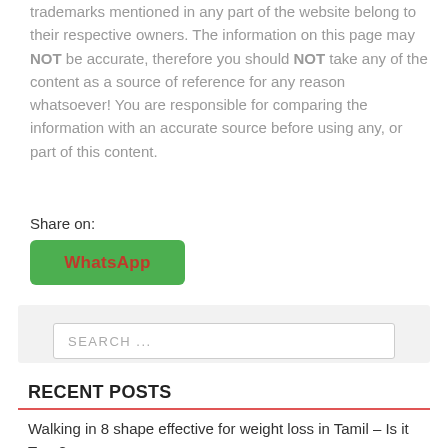trademarks mentioned in any part of the website belong to their respective owners. The information on this page may NOT be accurate, therefore you should NOT take any of the content as a source of reference for any reason whatsoever! You are responsible for comparing the information with an accurate source before using any, or part of this content.
Share on:
[Figure (other): WhatsApp share button — green rounded rectangle with orange 'WhatsApp' text]
[Figure (other): Search input box with placeholder text 'SEARCH ...' inside a light grey container]
RECENT POSTS
Walking in 8 shape effective for weight loss in Tamil – Is it True?